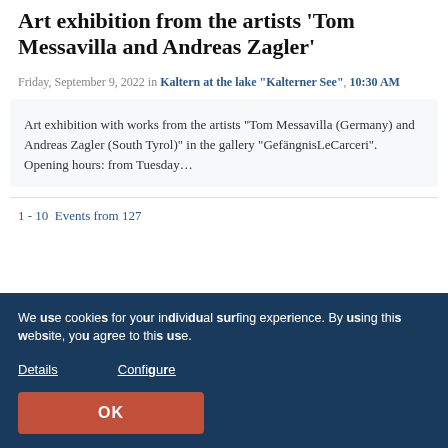Art exhibition from the artists 'Tom Messavilla and Andreas Zagler'
Friday, September 9, 2022 in Kaltern at the lake "Kalterner See", 10:30 AM
Art exhibition with works from the artists “Tom Messavilla (Germany) and Andreas Zagler (South Tyrol)” in the gallery “GefängnisLeCarceri”. Opening hours: from Tuesday...
1 - 10  Events from 127
We use cookies for your individual surfing experience. By using this website, you agree to this use.
Details
Configure
OK